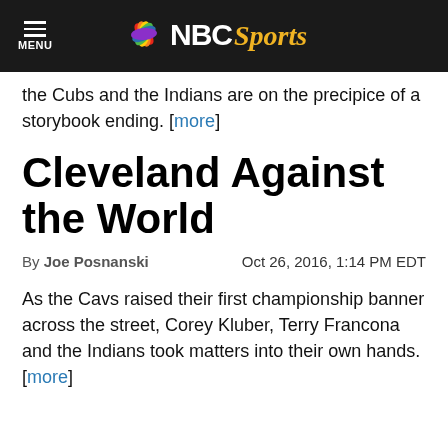NBC Sports
the Cubs and the Indians are on the precipice of a storybook ending. [more]
Cleveland Against the World
By Joe Posnanski   Oct 26, 2016, 1:14 PM EDT
As the Cavs raised their first championship banner across the street, Corey Kluber, Terry Francona and the Indians took matters into their own hands. [more]